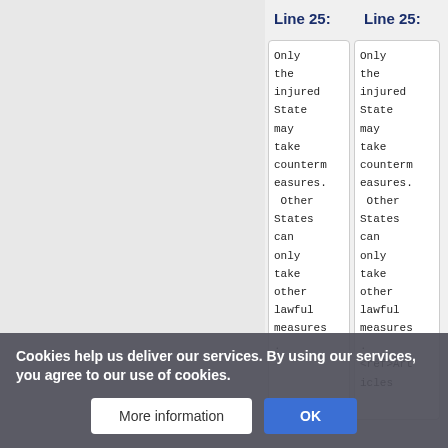Line 25:
Only
the
injured
State
may
take
countermeasures.
 Other
States
can
only
take
other
lawful
measures.
Line 25:
Only
the
injured
State
may
take
countermeasures.
 Other
States
can
only
take
other
lawful
measures.
<ref>Articles
Cookies help us deliver our services. By using our services, you agree to our use of cookies.